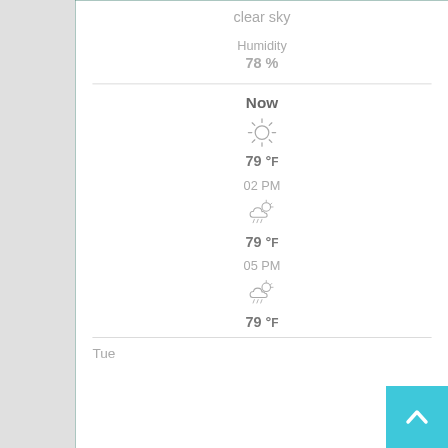clear sky
Humidity
78 %
Now
[Figure (illustration): Sun icon (clear sky)]
79 °F
02 PM
[Figure (illustration): Partly cloudy with rain icon]
79 °F
05 PM
[Figure (illustration): Partly cloudy with rain icon]
79 °F
Tue